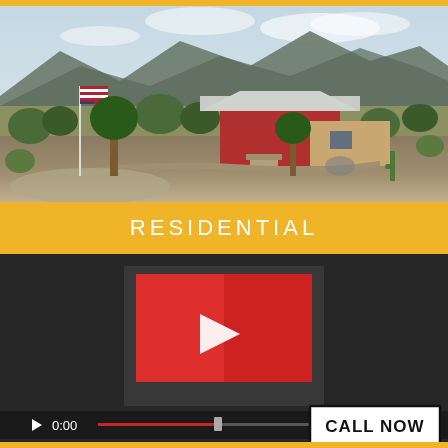[Figure (photo): Aerial drone photo of a desert residential home with red/beige exterior and metal roof, surrounded by desert vegetation, with an American flag in the foreground and mountains in the background under a cloudy sky.]
RESIDENTIAL
[Figure (screenshot): Video player interface showing a YouTube-style video thumbnail with red play button in the center, video controls at the bottom including a play button, 0:00 timestamp, red progress bar with gray scrubber thumb, and a 'CALL NOW' button overlay in the bottom right corner.]